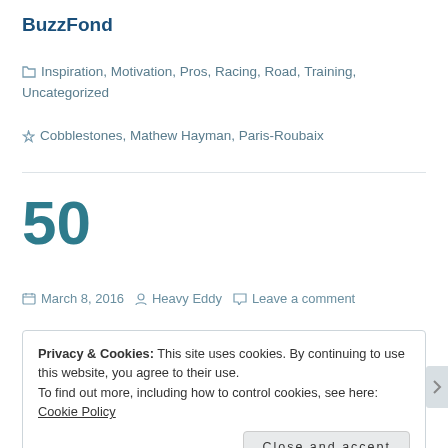BuzzFond
Inspiration, Motivation, Pros, Racing, Road, Training, Uncategorized
Cobblestones, Mathew Hayman, Paris-Roubaix
50
March 8, 2016   Heavy Eddy   Leave a comment
Privacy & Cookies: This site uses cookies. By continuing to use this website, you agree to their use.
To find out more, including how to control cookies, see here: Cookie Policy
Close and accept